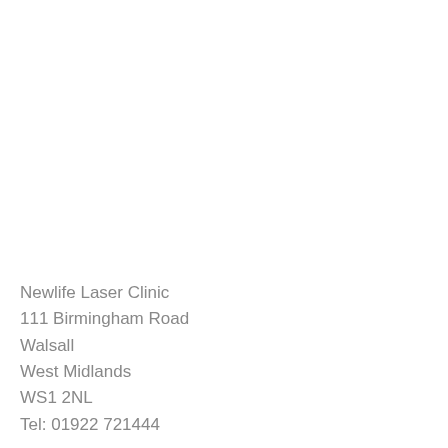Newlife Laser Clinic
111 Birmingham Road
Walsall
West Midlands
WS1 2NL
Tel: 01922 721444